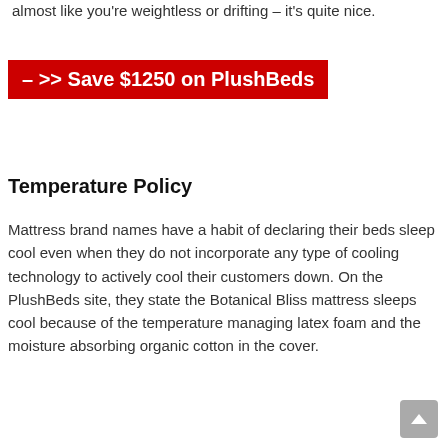almost like you're weightless or drifting – it's quite nice.
– >> Save $1250 on PlushBeds
Temperature Policy
Mattress brand names have a habit of declaring their beds sleep cool even when they do not incorporate any type of cooling technology to actively cool their customers down. On the PlushBeds site, they state the Botanical Bliss mattress sleeps cool because of the temperature managing latex foam and the moisture absorbing organic cotton in the cover.